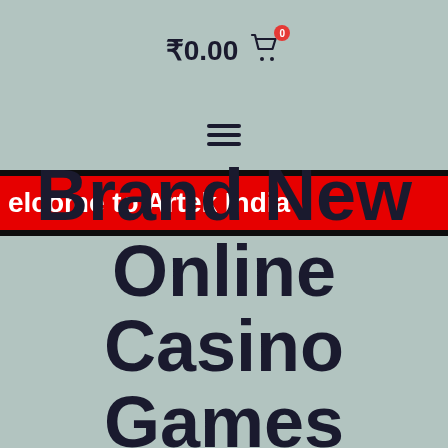₹0.00 🛒 0
[Figure (other): Hamburger menu icon (three horizontal lines)]
Welcome to Artek India
Brand New Online Casino Games Slots